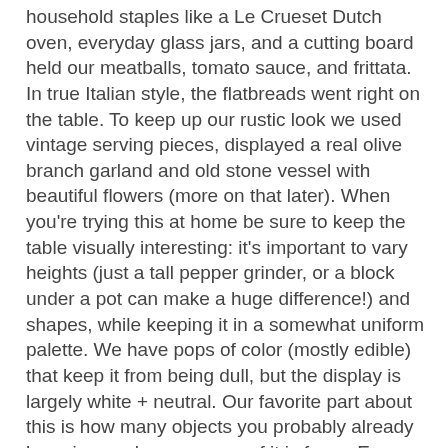household staples like a Le Crueset Dutch oven, everyday glass jars, and a cutting board held our meatballs, tomato sauce, and frittata. In true Italian style, the flatbreads went right on the table. To keep up our rustic look we used vintage serving pieces, displayed a real olive branch garland and old stone vessel with beautiful flowers (more on that later). When you're trying this at home be sure to keep the table visually interesting: it's important to vary heights (just a tall pepper grinder, or a block under a pot can make a huge difference!) and shapes, while keeping it in a somewhat uniform palette. We have pops of color (mostly edible) that keep it from being dull, but the display is largely white + neutral. Our favorite part about this is how many objects you probably already have in your home—none of it is fussy. Even our menu board is just an old frame with black heavy cardboard cut to size (frame from brook farm). The very talented Brynn from Paperfinger wrote the menu is casual and playful calligraphy.
Guest List :
Our guest list at this event was a bit closer to home than